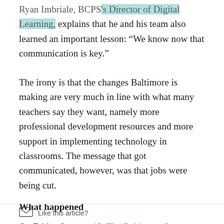Ryan Imbriale, BCPS's Director of Digital Learning, explains that he and his team also learned an important lesson: “We know now that communication is key.”
The irony is that the changes Baltimore is making are very much in line with what many teachers say they want, namely more professional development resources and more support in implementing technology in classrooms. The message that got communicated, however, was that jobs were being cut.
What happened
On Friday January 10, The Baltimore Sun reported that approximately 100 technology teachers jobs
Like this article?